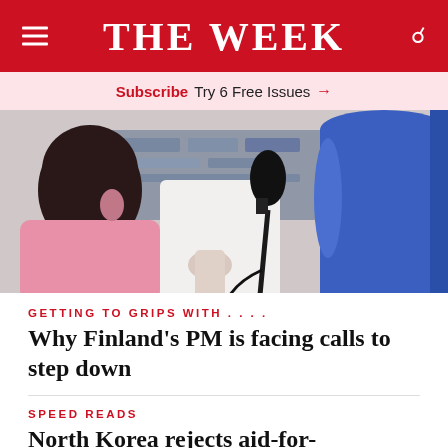THE WEEK
Subscribe Try 6 Free Issues →
[Figure (photo): Press conference scene showing people from behind, one holding a microphone, in an indoor setting]
GETTING TO GRIPS WITH . . . .
Why Finland's PM is facing calls to step down
SPEED READS
North Korea rejects aid-for-denuclearisation offer from Seoul